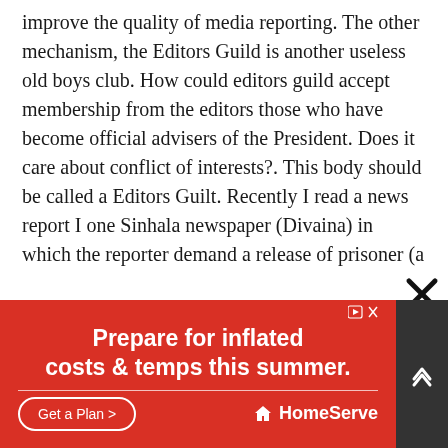improve the quality of media reporting. The other mechanism, the Editors Guild is another useless old boys club. How could editors guild accept membership from the editors those who have become official advisers of the President. Does it care about conflict of interests?. This body should be called a Editors Guilt. Recently I read a news report I one Sinhala newspaper (Divaina) in which the reporter demand a release of prisoner (a former soldier) who was imprisoned by the courts after finding guilty for murdering innocent people who happened to be Tamils. The
[Figure (other): Advertisement banner: 'Prepare for inflated costs & temps this summer. Get a Plan > HomeServe' on a red background, with a close (X) button overlay.]